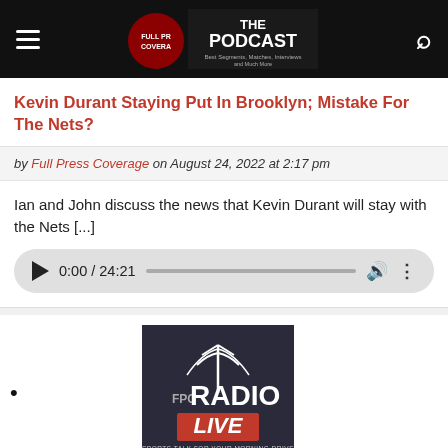Full Press Coverage - The Podcast
Kevin Durant Staying Put In Brooklyn; Mistake For The Nets?
by Full Press Coverage on August 24, 2022 at 2:17 pm
Ian and John discuss the news that Kevin Durant will stay with the Nets [...]
[Figure (other): Audio player showing 0:00 / 24:21 with play button, progress bar, volume and more options]
[Figure (logo): FPC Radio Live logo - sports talk for your morning drive, fullpresscoverage.com]
8/24 - Kevin Durant Trade Update; LeBron James Signs